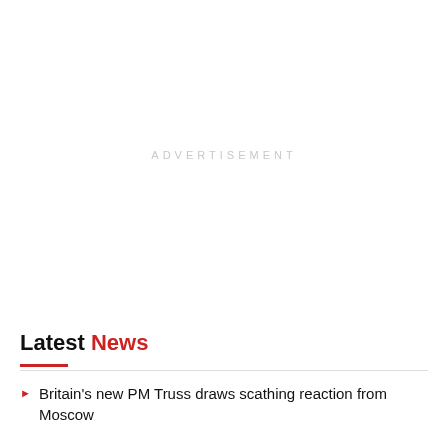ADVERTISEMENT
Latest News
Britain's new PM Truss draws scathing reaction from Moscow